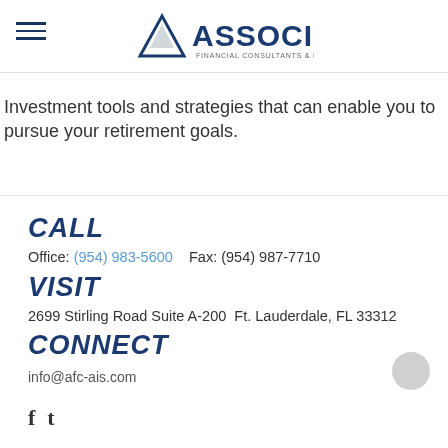[Figure (logo): Associated Financial Consultants & Investor Services logo with triangle/mountain icon]
Investment tools and strategies that can enable you to pursue your retirement goals.
CALL
Office: (954) 983-5600    Fax: (954) 987-7710
VISIT
2699 Stirling Road Suite A-200  Ft. Lauderdale, FL 33312
CONNECT
info@afc-ais.com